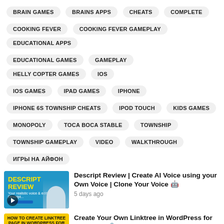BRAIN GAMES
BRAINS APPS
CHEATS
COMPLETE
COOKING FEVER
COOKING FEVER GAMEPLAY
EDUCATIONAL APPS
EDUCATIONAL GAMES
GAMEPLAY
HELLY COPTER GAMES
IOS
IOS GAMES
IPAD GAMES
IPHONE
IPHONE 6S TOWNSHIP CHEATS
IPOD TOUCH
KIDS GAMES
MONOPOLY
TOCA BOCA STABLE
TOWNSHIP
TOWNSHIP GAMEPLAY
VIDEO
WALKTHROUGH
ИГРЫ НА АЙФОН
[Figure (screenshot): Thumbnail for Descript Review video showing yellow text on blue background with person giving thumbs up]
Descript Review | Create AI Voice using your Own Voice | Clone Your Voice 🤖
5 days ago
[Figure (screenshot): Thumbnail for Linktree WordPress video with black text on yellow background with WordPress logo]
Create Your Own Linktree in WordPress for Free Fast 🔗 TikTok & Instagram Bio Link...
5 days ago